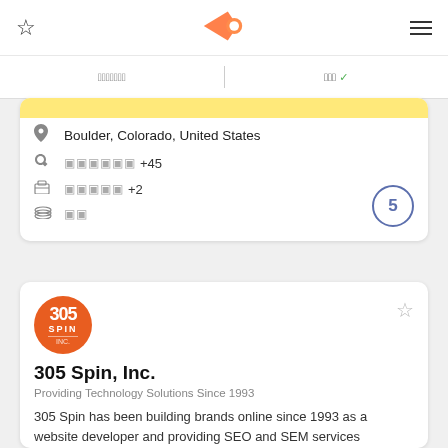Navigation bar with star icon, logo, and hamburger menu
[garbled tab text] | [garbled tab text] ✓
Boulder, Colorado, United States
[garbled] +45
[garbled] +2
[garbled]
305 Spin, Inc.
Providing Technology Solutions Since 1993
305 Spin has been building brands online since 1993 as a website developer and providing SEO and SEM services